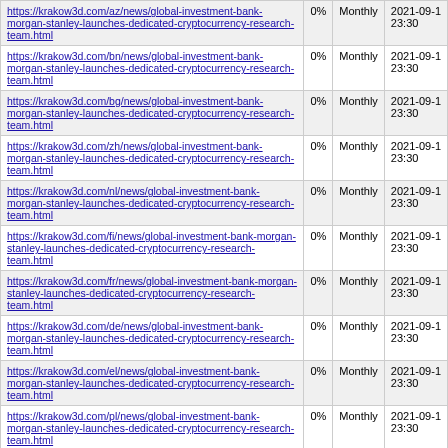| URL | Priority | Change Frequency | Last Modified |
| --- | --- | --- | --- |
| https://krakow3d.com/az/news/global-investment-bank-morgan-stanley-launches-dedicated-cryptocurrency-research-team.html | 0% | Monthly | 2021-09-1 23:30 |
| https://krakow3d.com/bn/news/global-investment-bank-morgan-stanley-launches-dedicated-cryptocurrency-research-team.html | 0% | Monthly | 2021-09-1 23:30 |
| https://krakow3d.com/bg/news/global-investment-bank-morgan-stanley-launches-dedicated-cryptocurrency-research-team.html | 0% | Monthly | 2021-09-1 23:30 |
| https://krakow3d.com/zh/news/global-investment-bank-morgan-stanley-launches-dedicated-cryptocurrency-research-team.html | 0% | Monthly | 2021-09-1 23:30 |
| https://krakow3d.com/nl/news/global-investment-bank-morgan-stanley-launches-dedicated-cryptocurrency-research-team.html | 0% | Monthly | 2021-09-1 23:30 |
| https://krakow3d.com/fi/news/global-investment-bank-morgan-stanley-launches-dedicated-cryptocurrency-research-team.html | 0% | Monthly | 2021-09-1 23:30 |
| https://krakow3d.com/fr/news/global-investment-bank-morgan-stanley-launches-dedicated-cryptocurrency-research-team.html | 0% | Monthly | 2021-09-1 23:30 |
| https://krakow3d.com/de/news/global-investment-bank-morgan-stanley-launches-dedicated-cryptocurrency-research-team.html | 0% | Monthly | 2021-09-1 23:30 |
| https://krakow3d.com/el/news/global-investment-bank-morgan-stanley-launches-dedicated-cryptocurrency-research-team.html | 0% | Monthly | 2021-09-1 23:30 |
| https://krakow3d.com/pl/news/global-investment-bank-morgan-stanley-launches-dedicated-cryptocurrency-research-team.html | 0% | Monthly | 2021-09-1 23:30 |
| https://krakow3d.com/sk/news/global-investment-bank-morgan-stanley-launches-dedicated-cryptocurrency-research-team.html | 0% | Monthly | 2021-09-1 23:30 |